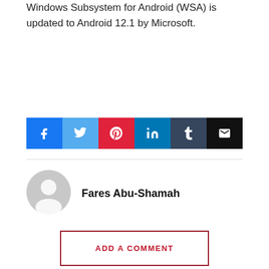Windows Subsystem for Android (WSA) is updated to Android 12.1 by Microsoft.
[Figure (other): Social media share buttons: Facebook, Twitter, Pinterest, LinkedIn, Tumblr, Email]
Fares Abu-Shamah
ADD A COMMENT